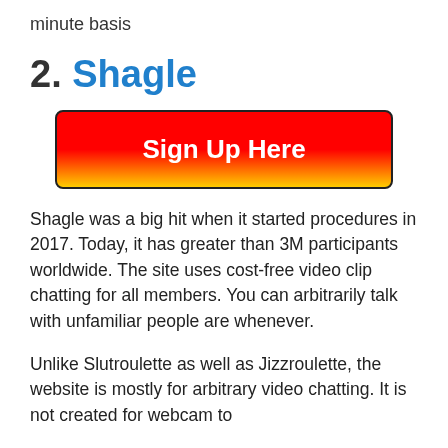minute basis
2. Shagle
[Figure (other): Red and yellow gradient Sign Up Here button]
Shagle was a big hit when it started procedures in 2017. Today, it has greater than 3M participants worldwide. The site uses cost-free video clip chatting for all members. You can arbitrarily talk with unfamiliar people are whenever.
Unlike Slutroulette as well as Jizzroulette, the website is mostly for arbitrary video chatting. It is not created for webcam to